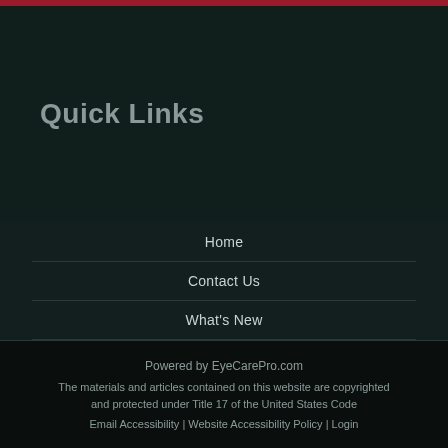Quick Links
Home
Contact Us
What's New
Disclaimer
Privacy Policy
Powered by EyeCarePro.com
The materials and articles contained on this website are copyrighted and protected under Title 17 of the United States Code
Email Accessibility | Website Accessibility Policy | Login